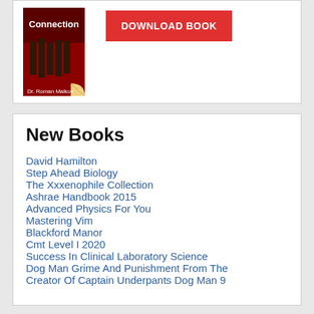[Figure (illustration): Book cover showing 'Connection' by Dr. Roman Malkov with red and dark design with partial text visible at top]
[Figure (other): Red 'DOWNLOAD BOOK' button]
New Books
David Hamilton
Step Ahead Biology
The Xxxenophile Collection
Ashrae Handbook 2015
Advanced Physics For You
Mastering Vim
Blackford Manor
Cmt Level I 2020
Success In Clinical Laboratory Science
Dog Man Grime And Punishment From The
Creator Of Captain Underpants Dog Man 9